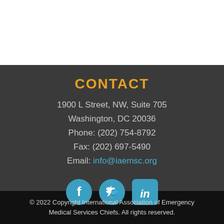CONTACT
1900 L Street, NW, Suite 705
Washington, DC 20036
Phone: (202) 754-8792
Fax: (202) 697-5490
Email: info@iaemsc.org
[Figure (infographic): Social media icons: Facebook, Twitter, LinkedIn in blue circles/boxes]
© 2022 Copyright International Association of Emergency Medical Services Chiefs. All rights reserved.